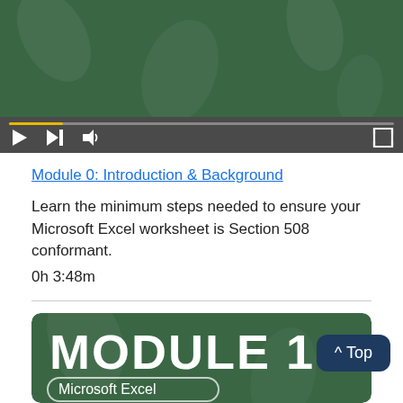[Figure (screenshot): Video player showing a green background video with playback controls bar including play, skip, volume buttons and a progress bar with yellow fill]
Module 0: Introduction & Background
Learn the minimum steps needed to ensure your Microsoft Excel worksheet is Section 508 conformant.
0h 3:48m
[Figure (screenshot): Module 1 course card with dark green background showing MODULE 1 in large bold white text and Microsoft Excel below in white text on a rounded rectangle card]